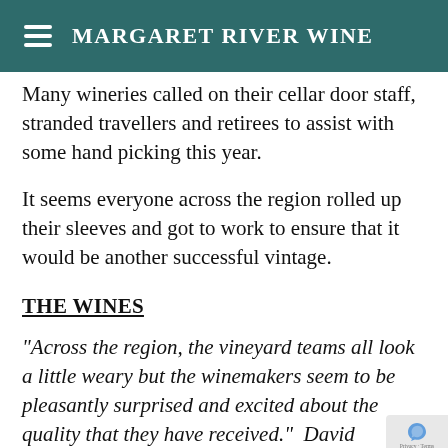Margaret River Wine
Many wineries called on their cellar door staff, stranded travellers and retirees to assist with some hand picking this year.
It seems everyone across the region rolled up their sleeves and got to work to ensure that it would be another successful vintage.
THE WINES
“Across the region, the vineyard teams all look a little weary but the winemakers seem to be pleasantly surprised and excited about the quality that they have received.”  David